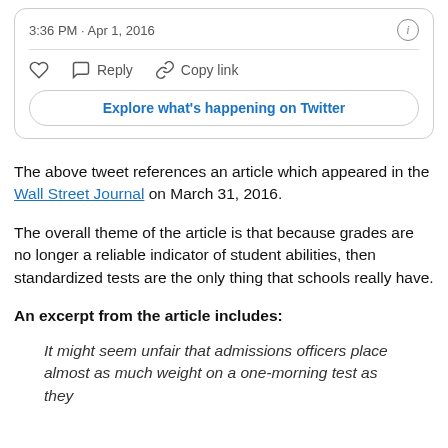[Figure (screenshot): Twitter/X tweet card showing timestamp '3:36 PM · Apr 1, 2016' with info icon, a horizontal divider, action buttons (like heart, Reply, Copy link), and an 'Explore what's happening on Twitter' button.]
The above tweet references an article which appeared in the Wall Street Journal on March 31, 2016.
The overall theme of the article is that because grades are no longer a reliable indicator of student abilities, then standardized tests are the only thing that schools really have.
An excerpt from the article includes:
It might seem unfair that admissions officers place almost as much weight on a one-morning test as they